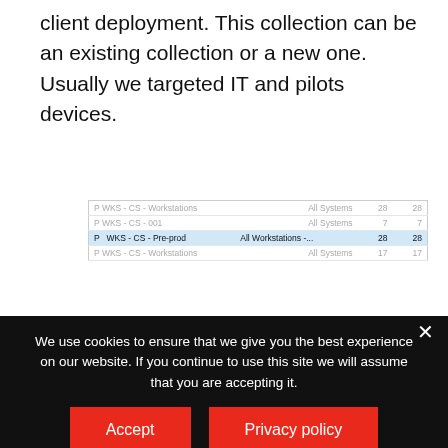client deployment. This collection can be an existing collection or a new one. Usually we targeted IT and pilots devices.
[Figure (screenshot): A table/list interface showing deployment collections. One row is highlighted in blue: 'WKS - CS - Pre-prod' with scope 'All Workstations -...' and counts 28 and 28. Other rows are blurred.]
STEP 1 | UPGRADE PROCESS
We use cookies to ensure that we give you the best experience on our website. If you continue to use this site we will assume that you are accepting it.